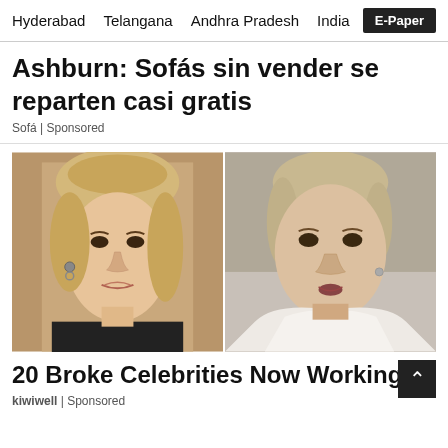Hyderabad   Telangana   Andhra Pradesh   India   E-Paper
Ashburn: Sofás sin vender se reparten casi gratis
Sofá | Sponsored
[Figure (photo): Side-by-side comparison photos of a young woman (left, dark top, hoop earrings) and an older woman (right, white scarf)]
20 Broke Celebrities Now Working Normal Jo
kiwiwell | Sponsored